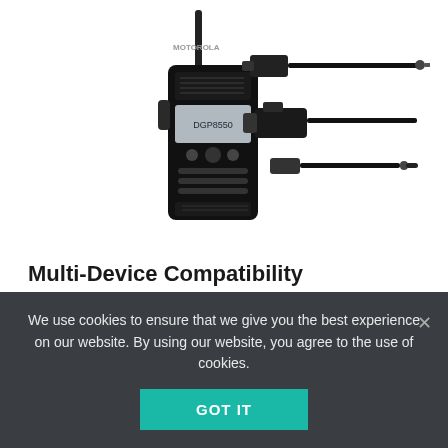[Figure (photo): Motorola two-way walkie-talkie radio with audio cable accessories including a connector cable and 3.5mm audio jack cable on white background]
Multi-Device Compatibility
At IASUS, our goal and purpose is unique: To create new niche and innovative products that solve very specific needs. Compatible with most 2-way radios when paired
We use cookies to ensure that we give you the best experience on our website. By using our website, you agree to the use of cookies.
GOT IT